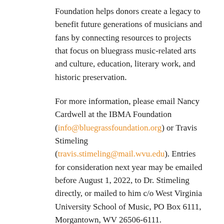Foundation helps donors create a legacy to benefit future generations of musicians and fans by connecting resources to projects that focus on bluegrass music-related arts and culture, education, literary work, and historic preservation.
For more information, please email Nancy Cardwell at the IBMA Foundation (info@bluegrassfoundation.org) or Travis Stimeling (travis.stimeling@mail.wvu.edu). Entries for consideration next year may be emailed before August 1, 2022, to Dr. Stimeling directly, or mailed to him c/o West Virginia University School of Music, PO Box 6111, Morgantown, WV 26506-6111.
Return to the August 2021 issue of The Cornerstone.